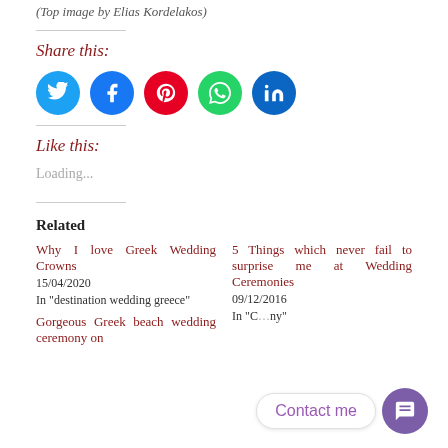(Top image by Elias Kordelakos)
Share this:
[Figure (other): Social media share buttons: Twitter, Facebook, Pinterest, WhatsApp, LinkedIn]
Like this:
Loading...
Related
Why I love Greek Wedding Crowns
15/04/2020
In "destination wedding greece"
5 Things which never fail to surprise me at Wedding Ceremonies
09/12/2016
In "..."
Gorgeous Greek beach wedding ceremony on